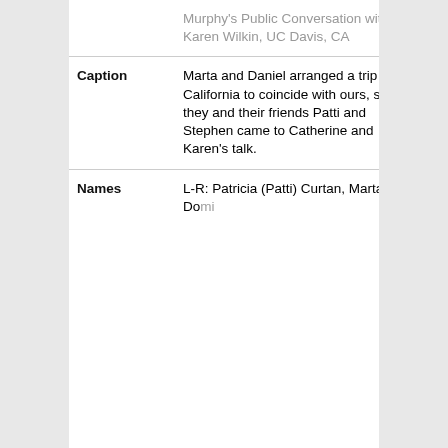| Field | Value |
| --- | --- |
|  | Murphy's Public Conversation with Karen Wilkin, UC Davis, CA |
| Caption | Marta and Daniel arranged a trip to California to coincide with ours, so they and their friends Patti and Stephen came to Catherine and Karen's talk. |
| Names | L-R: Patricia (Patti) Curtan, Marta Domin... |